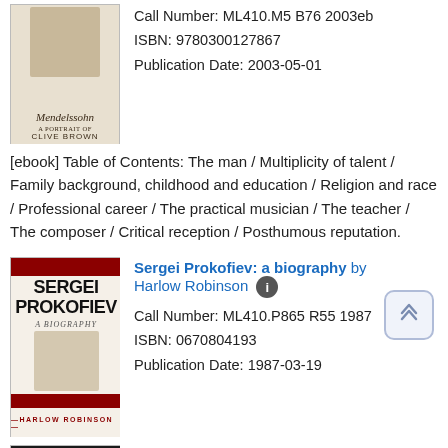[Figure (illustration): Book cover for a Mendelssohn biography by Clive Brown, showing a portrait at top and italic script title]
Call Number: ML410.M5 B76 2003eb
ISBN: 9780300127867
Publication Date: 2003-05-01
[ebook] Table of Contents: The man / Multiplicity of talent / Family background, childhood and education / Religion and race / Professional career / The practical musician / The teacher / The composer / Critical reception / Posthumous reputation.
Sergei Prokofiev: a biography by Harlow Robinson
[Figure (illustration): Book cover for Sergei Prokofiev: A Biography by Harlow Robinson, with bold red and black design and sketch portrait]
Call Number: ML410.P865 R55 1987
ISBN: 0670804193
Publication Date: 1987-03-19
A Schoenberg Reader by Joseph Henry Auner
[Figure (photo): Book cover for A Schoenberg Reader showing a dark portrait photo]